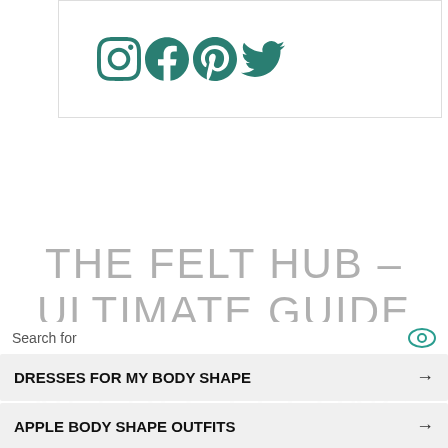[Figure (other): Social media icons: Instagram, Facebook, Pinterest, Twitter in teal color inside a bordered box]
THE FELT HUB – ULTIMATE GUIDE TO NEEDLE FELTING
Search for
DRESSES FOR MY BODY SHAPE →
APPLE BODY SHAPE OUTFITS →
Ad | Business Focus